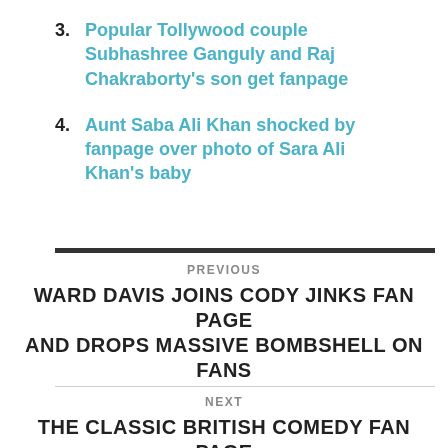3. Popular Tollywood couple Subhashree Ganguly and Raj Chakraborty's son get fanpage
4. Aunt Saba Ali Khan shocked by fanpage over photo of Sara Ali Khan's baby
PREVIOUS
WARD DAVIS JOINS CODY JINKS FAN PAGE AND DROPS MASSIVE BOMBSHELL ON FANS
NEXT
THE CLASSIC BRITISH COMEDY FAN PAGE